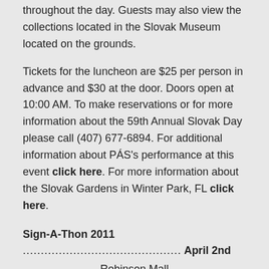throughout the day. Guests may also view the collections located in the Slovak Museum located on the grounds.
Tickets for the luncheon are $25 per person in advance and $30 at the door. Doors open at 10:00 AM. To make reservations or for more information about the 59th Annual Slovak Day please call (407) 677-6894. For additional information about PÁS's performance at this event click here. For more information about the Slovak Gardens in Winter Park, FL click here.
Sign-A-Thon 2011 .................................................... April 2nd
Robinson Mall
100 Robinson Centre Drive
Pittsburgh, PA 15205
PÁS performs for the Center for Hearing & Deaf Services, Inc. (HDS) Sign-A-Thon 2011, which will be held on Saturday, April 2, 2011 from noon-3pm at Robinson Mall. The Deaf, DeafBlind, Hard-of-Hearing, and Hearing communities are all invited to enjoy an afternoon of socializing, entertainment, information tables, children's crafts, and more! For more information about